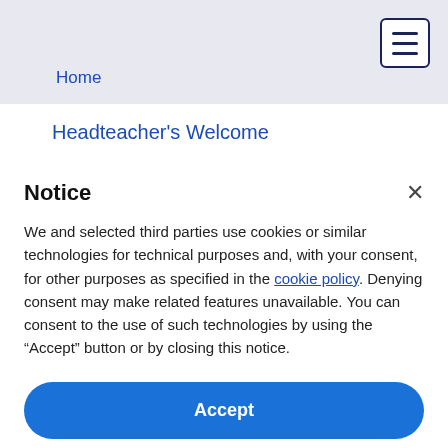Home
Headteacher's Welcome
Notice
We and selected third parties use cookies or similar technologies for technical purposes and, with your consent, for other purposes as specified in the cookie policy. Denying consent may make related features unavailable. You can consent to the use of such technologies by using the “Accept” button or by closing this notice.
Accept
Learn more and customize